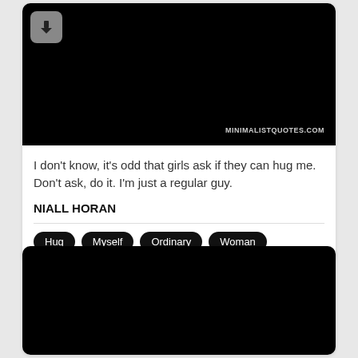[Figure (screenshot): Black image area with a grey download button (arrow icon) in top-left and 'MINIMALISTQUOTES.COM' text in bottom-right]
I don't know, it's odd that girls ask if they can hug me. Don't ask, do it. I'm just a regular guy.
NIALL HORAN
Hug
Myself
Ordinary
Woman
[Figure (photo): Solid black image area (second card, partially visible)]